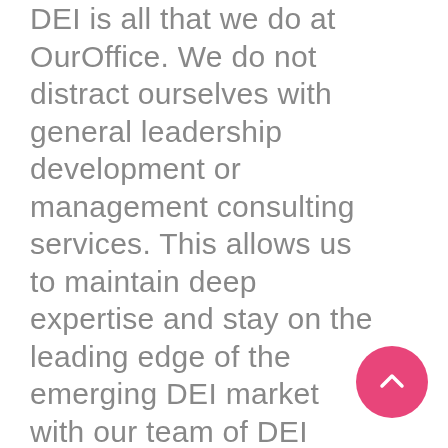DEI is all that we do at OurOffice. We do not distract ourselves with general leadership development or management consulting services. This allows us to maintain deep expertise and stay on the leading edge of the emerging DEI market with our team of DEI experts and advisors in OurOffice DEI Institute. Leaders who choose to take advantage of our offerings can be sure to
[Figure (other): Pink circular scroll-to-top button with an upward chevron arrow icon]